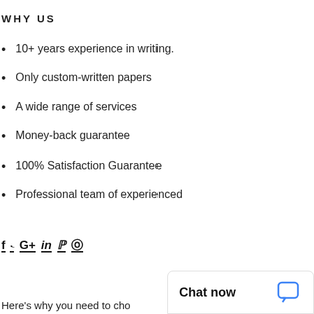WHY US
10+ years experience in writing.
Only custom-written papers
A wide range of services
Money-back guarantee
100% Satisfaction Guarantee
Professional team of experienced
f ✦ G+ in 𝒑 ⊙
Chat now
Here's why you need to cho